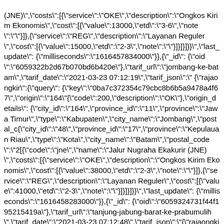(JNE)","costs":[{"service":"OKE","description":"Ongkos Kirim Ekonomis","cost":[{"value":13000,"etd":"3-6","note":""}]},{"service":"REG","description":"Layanan Reguler","cost":[{"value":15000,"etd":"2-3","note":""}]}]}]}}","last_update": {"milliseconds":"1616457834000"}},{"_id": {"oid":"6059322b2d67b070bd6b420e"},"tarif_url":"jombang-ke-batam","tarif_date":"2021-03-23 07:12:19","tarif_json":"{\"rajaongkir\":{\"query\": {\"key\":\"0ba7c372354c79cbc8b6b5a9478a4f67\",\"origin\":\"164\"{"code":200,"description":"OK"},"origin_details": {"city_id":"164","province_id":"11","province":"Jawa Timur","type":"Kabupaten","city_name":"Jombang","postal_c{"city_id":"48","province_id":"17","province":"Kepulauan Riau","type":"Kota","city_name":"Batam","postal_code":"2[{"code":"jne","name":"Jalur Nugraha Ekakurir (JNE)","costs":[{"service":"OKE","description":"Ongkos Kirim Ekonomis","cost":[{"value":38000,"etd":"2-3","note":""}]},{"service":"REG","description":"Layanan Reguler","cost":[{"value":41000,"etd":"2-3","note":""}]}]}]}}","last_update": {"milliseconds":"1616458283000"}},{"_id": {"oid":"6059324731f44f195215419a"},"tarif_url":"tanjung-jabung-barat-ke-prabumulih","tarif_date":"2021-03-23 07:12:48","tarif_json":"{\"rajaongkir\":{\"query\": {"key":"0ba7c372354c79cbc8b6b5a9478a4f67","origin":